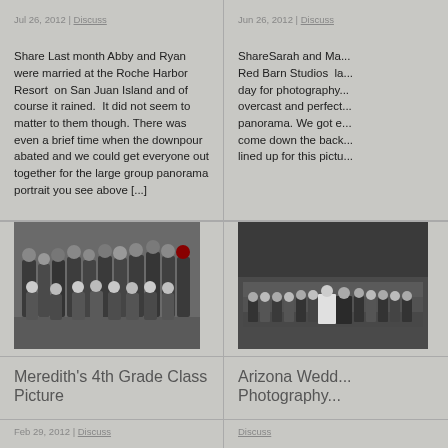Jul 26, 2012 | Discuss
Jun 26, 2012 | Discuss
Share Last month Abby and Ryan were married at the Roche Harbor Resort on San Juan Island and of course it rained. It did not seem to matter to them though. There was even a brief time when the downpour abated and we could get everyone out together for the large group panorama portrait you see above [...]
ShareSarah and Ma... Red Barn Studios la... day for photography... overcast and perfect... panorama. We got e... come down the back... lined up for this pictu...
[Figure (photo): Black and white group photo of about 20-25 children standing and kneeling in rows, appearing to be a 4th grade class picture taken in a gym]
[Figure (photo): Black and white photo of a large wedding group outside, formally posed in multiple rows]
Meredith's 4th Grade Class Picture
Arizona Wedd... Photography...
Feb 29, 2012 | Discuss
Discuss